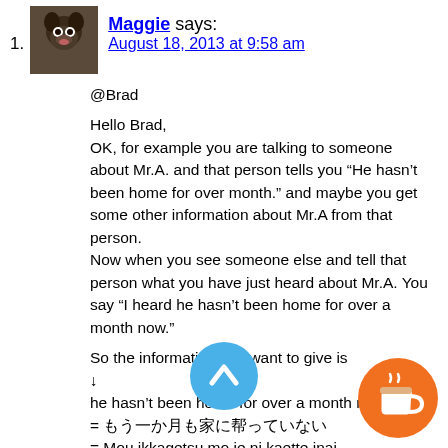1. Maggie says: August 18, 2013 at 9:58 am

@Brad

Hello Brad,
OK, for example you are talking to someone about Mr.A. and that person tells you “He hasn’t been home for over month.” and maybe you get some other information about Mr.A from that person.
Now when you see someone else and tell that person what you have just heard about Mr.A. You say “I heard he hasn’t been home for over a month now.”

So the information you want to give is
↓
he hasn’t been home for over a month now
= もう一ヶ月も家に帰っていない
= Mou ikkagetsu mo ie ni kaette inai

↓
I heard he hasn’t been home for over a month